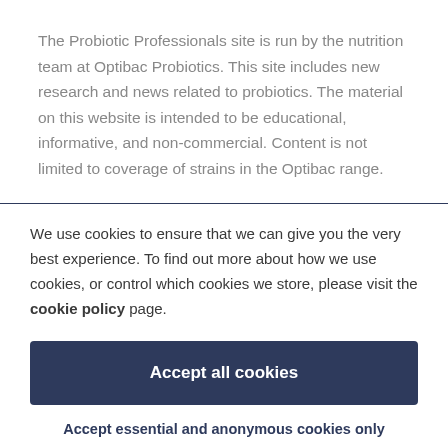The Probiotic Professionals site is run by the nutrition team at Optibac Probiotics. This site includes new research and news related to probiotics. The material on this website is intended to be educational, informative, and non-commercial. Content is not limited to coverage of strains in the Optibac range.
We use cookies to ensure that we can give you the very best experience. To find out more about how we use cookies, or control which cookies we store, please visit the cookie policy page.
Accept all cookies
Accept essential and anonymous cookies only